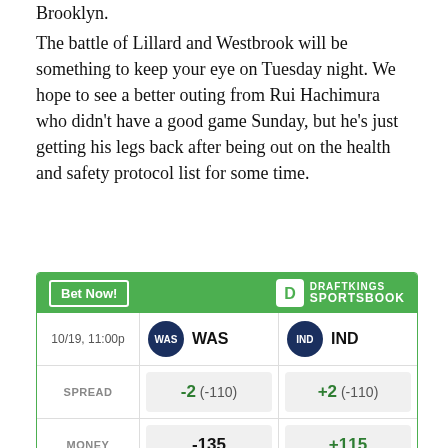Brooklyn.
The battle of Lillard and Westbrook will be something to keep your eye on Tuesday night. We hope to see a better outing from Rui Hachimura who didn't have a good game Sunday, but he's just getting his legs back after being out on the health and safety protocol list for some time.
|  | WAS | IND |
| --- | --- | --- |
| 10/19, 11:00p | WAS | IND |
| SPREAD | -2  (-110) | +2  (-110) |
| MONEY | -135 | +115 |